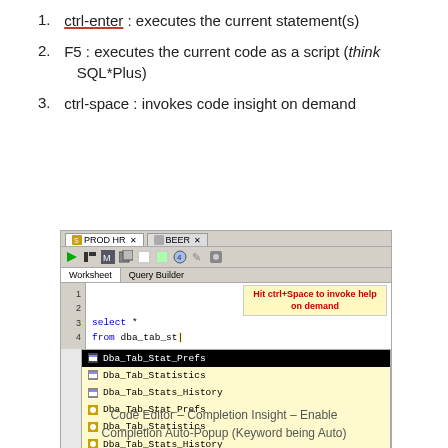ctrl-enter : executes the current statement(s)
F5 : executes the current code as a script (think SQL*Plus)
ctrl-space : invokes code insight on demand
[Figure (screenshot): SQL Developer Code Editor screenshot showing ctrl+Space autocomplete dropdown with Dba_Tab_ completions and help bubble saying 'Hit ctrl+Space to invoke help on demand']
Code Editor – Completion Insight – Enable Completion Auto-Popup (Keyword being Auto)